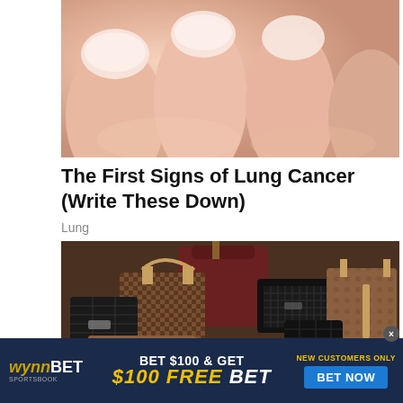[Figure (photo): Close-up macro photo of human fingernails, pinkish skin tones]
The First Signs of Lung Cancer (Write These Down)
Lung
[Figure (photo): Collection of luxury designer handbags including Louis Vuitton, Chanel, and other brands piled together]
[Figure (other): WynnBET Sportsbook advertisement banner: BET $100 & GET $100 FREE BET. NEW CUSTOMERS ONLY. BET NOW button.]